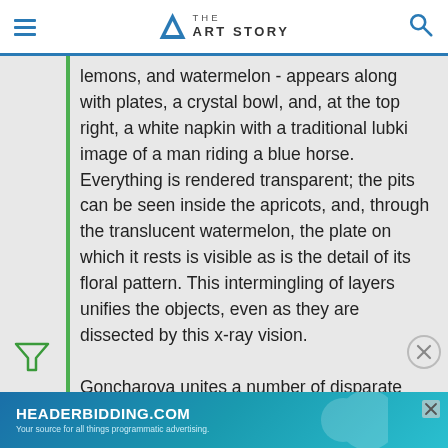THE ART STORY
lemons, and watermelon - appears along with plates, a crystal bowl, and, at the top right, a white napkin with a traditional lubki image of a man riding a blue horse. Everything is rendered transparent; the pits can be seen inside the apricots, and, through the translucent watermelon, the plate on which it rests is visible as is the detail of its floral pattern. This intermingling of layers unifies the objects, even as they are dissected by this x-ray vision.

Goncharova unites a number of disparate elements in the work: some of the fruit like the oranges and lemons would have been exotic,
[Figure (other): Advertisement banner for HEADERBIDDING.COM - Your source for all things programmatic advertising.]